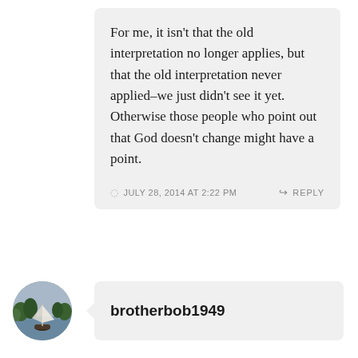For me, it isn't that the old interpretation no longer applies, but that the old interpretation never applied–we just didn't see it yet. Otherwise those people who point out that God doesn't change might have a point.
JULY 28, 2014 AT 2:22 PM
REPLY
[Figure (photo): Circular avatar photo showing a sailboat on water with trees in the background]
brotherbob1949